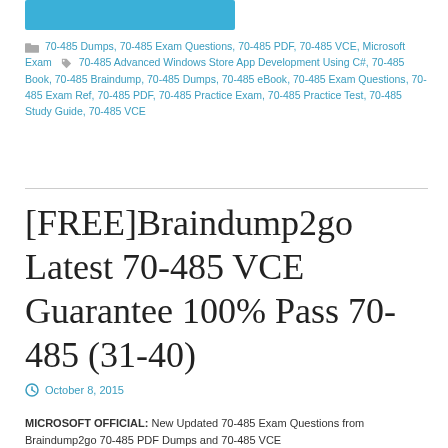[Figure (illustration): Blue banner/header image at top of page]
70-485 Dumps, 70-485 Exam Questions, 70-485 PDF, 70-485 VCE, Microsoft Exam   70-485 Advanced Windows Store App Development Using C#, 70-485 Book, 70-485 Braindump, 70-485 Dumps, 70-485 eBook, 70-485 Exam Questions, 70-485 Exam Ref, 70-485 PDF, 70-485 Practice Exam, 70-485 Practice Test, 70-485 Study Guide, 70-485 VCE
[FREE]Braindump2go Latest 70-485 VCE Guarantee 100% Pass 70-485 (31-40)
October 8, 2015
MICROSOFT OFFICIAL: New Updated 70-485 Exam Questions from Braindump2go 70-485 PDF Dumps and 70-485 VCE